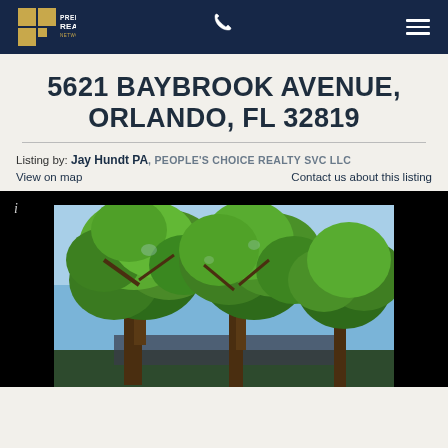Premier Realty Network
5621 BAYBROOK AVENUE, ORLANDO, FL 32819
Listing by: Jay Hundt PA, PEOPLE'S CHOICE REALTY SVC LLC
View on map | Contact us about this listing
[Figure (photo): Exterior photo of property at 5621 Baybrook Avenue, Orlando FL 32819, showing large trees in foreground with house partially visible behind them.]